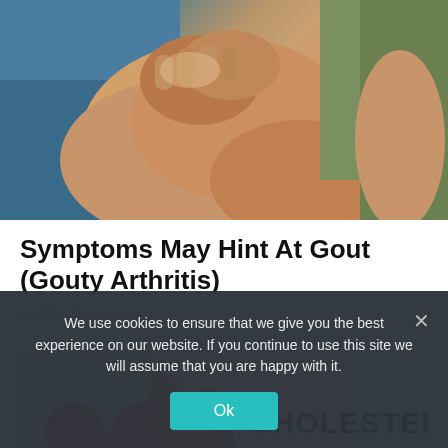[Figure (photo): Elderly person holding/clutching their knee with both hands, suggesting joint pain from gout. Blue sofa visible in background, person wearing green shirt.]
Symptoms May Hint At Gout (Gouty Arthritis)
Health | Sponsored
[Figure (photo): Health/cholesterol themed image showing red tomatoes and orange carrots on the left side, with text reading 'CHOLESTEROL' and 'HDL' with a checkmark checkbox on a light purple/white background on the right side.]
We use cookies to ensure that we give you the best experience on our website. If you continue to use this site we will assume that you are happy with it.